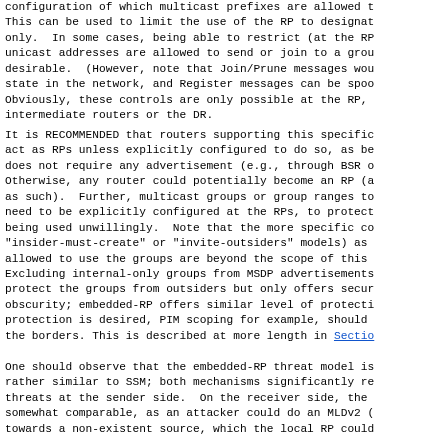configuration of which multicast prefixes are allowed to be used at the RP. This can be used to limit the use of the RP to designated groups only.  In some cases, being able to restrict (at the RP) which unicast addresses are allowed to send or join to a group may be desirable.  (However, note that Join/Prune messages would not create state in the network, and Register messages can be spoofed.) Obviously, these controls are only possible at the RP, not at intermediate routers or the DR.
It is RECOMMENDED that routers supporting this specification not act as RPs unless explicitly configured to do so, as becoming an RP does not require any advertisement (e.g., through BSR or Anycast). Otherwise, any router could potentially become an RP (and be treated as such).  Further, multicast groups or group ranges to be served need to be explicitly configured at the RPs, to protect against being used unwillingly.  Note that the more specific controls (e.g., "insider-must-create" or "invite-outsiders" models) as to who is allowed to use the groups are beyond the scope of this specification.
Excluding internal-only groups from MSDP advertisements may help protect the groups from outsiders but only offers security through obscurity; embedded-RP offers similar level of protection.  If real protection is desired, PIM scoping for example, should be used at the borders. This is described at more length in Section 4.3.
One should observe that the embedded-RP threat model is in many ways rather similar to SSM; both mechanisms significantly reduce the threats at the sender side.  On the receiver side, the threats are somewhat comparable, as an attacker could do an MLDv2 (or PIMv2) join towards a non-existent source, which the local RP could